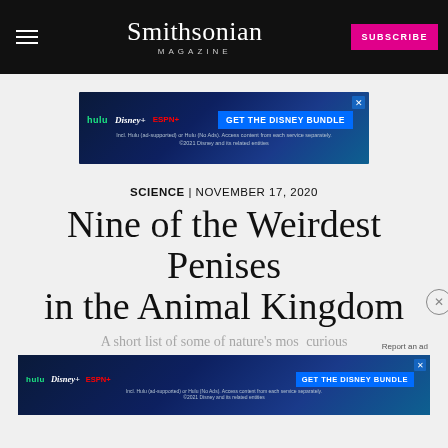Smithsonian MAGAZINE
[Figure (screenshot): Disney Bundle advertisement banner featuring Hulu, Disney+, and ESPN+ logos with blue gradient background and 'GET THE DISNEY BUNDLE' call-to-action button]
SCIENCE | NOVEMBER 17, 2020
Nine of the Weirdest Penises in the Animal Kingdom
A short list of some of nature's most curious phalluses, from the tiniest unit
[Figure (screenshot): Disney Bundle advertisement banner overlay with 'Report an ad' label, featuring Hulu, Disney+, and ESPN+ logos with blue gradient background and 'GET THE DISNEY BUNDLE' call-to-action button]